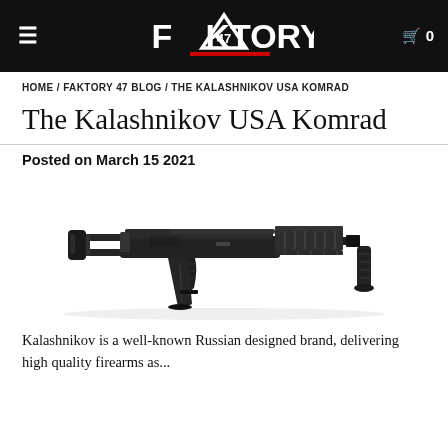FAKTORY 47 — Navigation header with menu, logo, and cart
HOME / FAKTORY 47 BLOG / THE KALASHNIKOV USA KOMRAD
The Kalashnikov USA Komrad
Posted on March 15 2021
[Figure (photo): Side-profile photo of the Kalashnikov USA Komrad firearm, a black AK-style pistol/rifle with folding brace, foregrip, and extended magazine, on white background.]
Kalashnikov is a well-known Russian designed brand, delivering high quality firearms as...